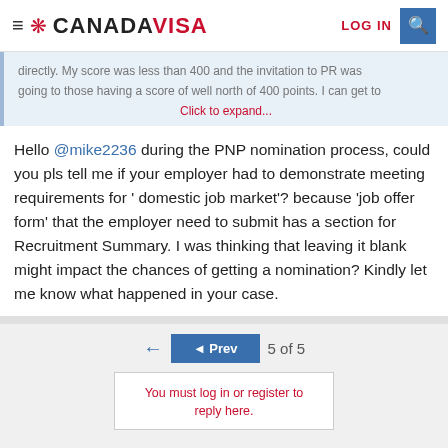CANADAVISA — LOG IN
directly. My score was less than 400 and the invitation to PR was going to those having a score of well north of 400 points. I can get to
Click to expand...
Hello @mike2236 during the PNP nomination process, could you pls tell me if your employer had to demonstrate meeting requirements for ' domestic job market'? because 'job offer form' that the employer need to submit has a section for Recruitment Summary. I was thinking that leaving it blank might impact the chances of getting a nomination? Kindly let me know what happened in your case.
◄ Prev  5 of 5
You must log in or register to reply here.
Share: